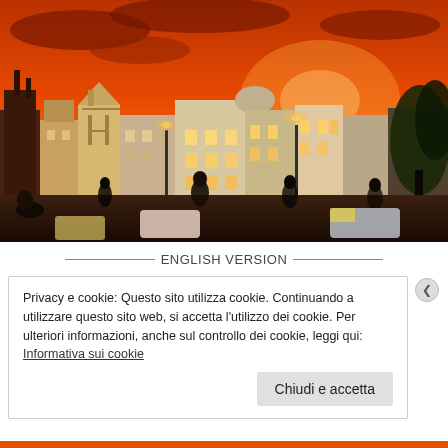[Figure (photo): City street scene at sunset with orange/red sky, row of European-style buildings with illuminated windows and street lights, people and cars in the foreground, large trees on the right side.]
ENGLISH VERSION
Privacy e cookie: Questo sito utilizza cookie. Continuando a utilizzare questo sito web, si accetta l'utilizzo dei cookie. Per ulteriori informazioni, anche sul controllo dei cookie, leggi qui: Informativa sui cookie
Chiudi e accetta